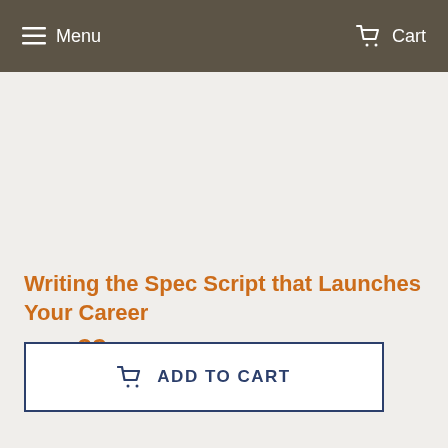Menu  Cart
Writing the Spec Script that Launches Your Career
$79.99
ADD TO CART